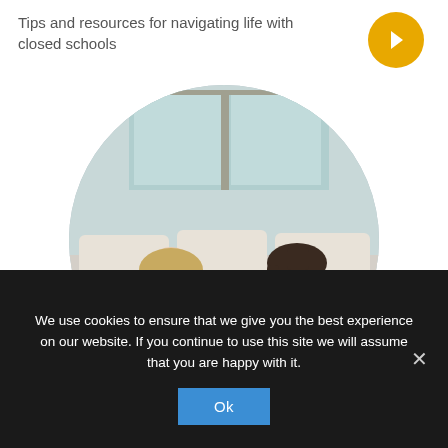Tips and resources for navigating life with closed schools
[Figure (photo): Two women sitting on a sofa facing each other in conversation, near a window with natural light. One has long blonde hair wearing a beige knit sweater; the other has dark hair wearing a striped shirt. Displayed in a circular crop.]
We use cookies to ensure that we give you the best experience on our website. If you continue to use this site we will assume that you are happy with it.